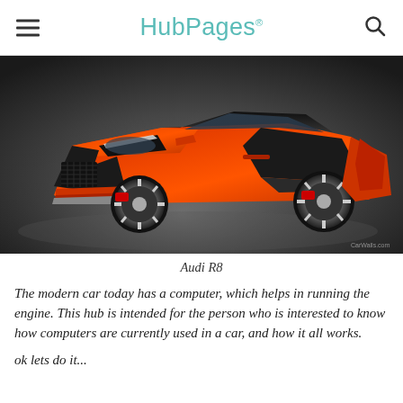HubPages
[Figure (photo): Orange Audi R8 sports car photographed from a front-three-quarter angle against a dark grey studio background. The car features bold orange bodywork with black and silver accent panels, large alloy wheels, and distinctive LED headlights.]
Audi R8
The modern car today has a computer, which helps in running the engine. This hub is intended for the person who is interested to know how computers are currently used in a car, and how it all works.
ok lets do it...